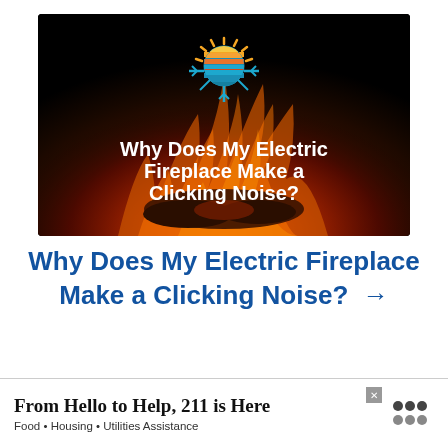[Figure (photo): Thumbnail image with dark background showing electric fireplace flames, a heat/cool logo icon at top center, and white bold text overlay reading 'Why Does My Electric Fireplace Make a Clicking Noise?']
Why Does My Electric Fireplace Make a Clicking Noise? →
From Hello to Help, 211 is Here
Food • Housing • Utilities Assistance